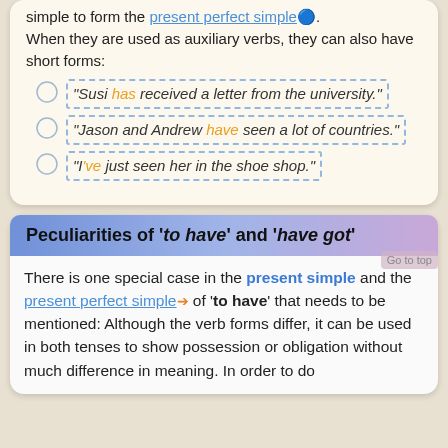simple to form the present perfect simple. When they are used as auxiliary verbs, they can also have short forms:
"Susi has received a letter from the university."
"Jason and Andrew have seen a lot of countries."
"I've just seen her in the shoe shop."
Peculiarities of 'to have' and 'have got'
There is one special case in the present simple and the present perfect simple of 'to have' that needs to be mentioned: Although the verb forms differ, it can be used in both tenses to show possession or obligation without much difference in meaning. In order to do